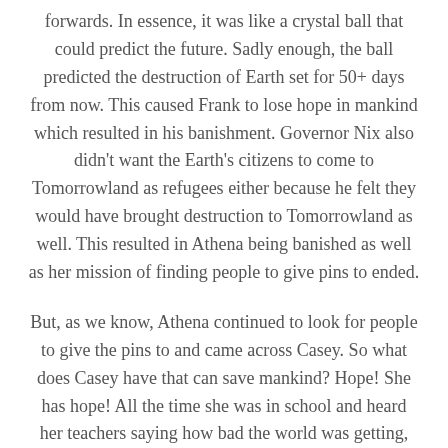forwards. In essence, it was like a crystal ball that could predict the future. Sadly enough, the ball predicted the destruction of Earth set for 50+ days from now. This caused Frank to lose hope in mankind which resulted in his banishment. Governor Nix also didn't want the Earth's citizens to come to Tomorrowland as refugees either because he felt they would have brought destruction to Tomorrowland as well. This resulted in Athena being banished as well as her mission of finding people to give pins to ended.
But, as we know, Athena continued to look for people to give the pins to and came across Casey. So what does Casey have that can save mankind? Hope! She has hope! All the time she was in school and heard her teachers saying how bad the world was getting, her response was what were they going to do to change it!